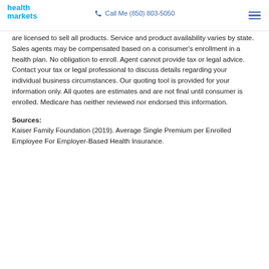health markets | Call Me (850) 803-5050
are licensed to sell all products. Service and product availability varies by state. Sales agents may be compensated based on a consumer's enrollment in a health plan. No obligation to enroll. Agent cannot provide tax or legal advice. Contact your tax or legal professional to discuss details regarding your individual business circumstances. Our quoting tool is provided for your information only. All quotes are estimates and are not final until consumer is enrolled. Medicare has neither reviewed nor endorsed this information.
Sources:
Kaiser Family Foundation (2019). Average Single Premium per Enrolled Employee For Employer-Based Health Insurance.